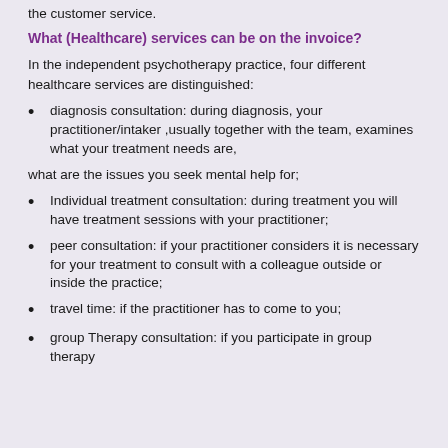the customer service.
What (Healthcare) services can be on the invoice?
In the independent psychotherapy practice, four different healthcare services are distinguished:
diagnosis consultation: during diagnosis, your practitioner/intaker ,usually together with the team, examines what your treatment needs are,
what are the issues you seek mental help for;
Individual treatment consultation: during treatment you will have treatment sessions with your practitioner;
peer consultation: if your practitioner considers it is necessary for your treatment to consult with a colleague outside or inside the practice;
travel time: if the practitioner has to come to you;
group Therapy consultation: if you participate in group therapy